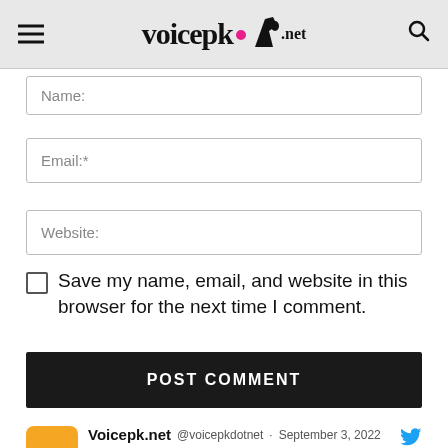voicepk.net
Name:
Email:*
Website:
Save my name, email, and website in this browser for the next time I comment.
POST COMMENT
Voicepk.net @voicepkdotnet · September 3, 2022
ملتان پولیس نے پندرہ سالہ لڑکی کے ساتھ جنسی